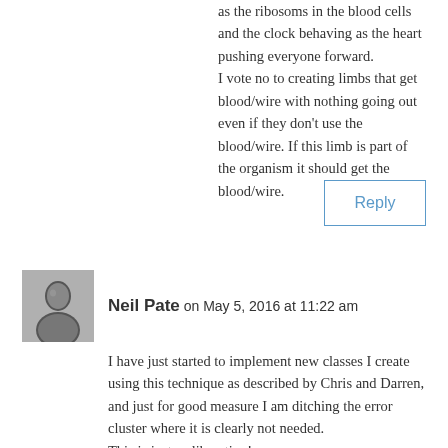as the ribosoms in the blood cells and the clock behaving as the heart pushing everyone forward.
I vote no to creating limbs that get blood/wire with nothing going out even if they don't use the blood/wire. If this limb is part of the organism it should get the blood/wire.
Reply
Neil Pate on May 5, 2016 at 11:22 am
[Figure (photo): Black and white portrait photo of Neil Pate]
I have just started to implement new classes I create using this technique as described by Chris and Darren, and just for good measure I am ditching the error cluster where it is clearly not needed.
This is just so liberating!
My wiring OCD is going to take some time to get used to this new look, but I really look